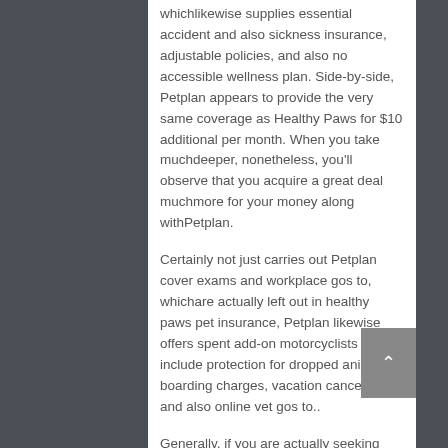whichlikewise supplies essential accident and also sickness insurance, adjustable policies, and also no accessible wellness plan. Side-by-side, Petplan appears to provide the very same coverage as Healthy Paws for $10 additional per month. When you take muchdeeper, nonetheless, you'll observe that you acquire a great deal muchmore for your money along withPetplan.
Certainly not just carries out Petplan cover exams and workplace gos to, whichare actually left out in healthy paws pet insurance, Petplan likewise offers spent add-on motorcyclists that include protection for dropped animals, boarding charges, vacation cancellation, and also online vet gos to..
Generally, if you are actually seeking general collision as well as illness insurance